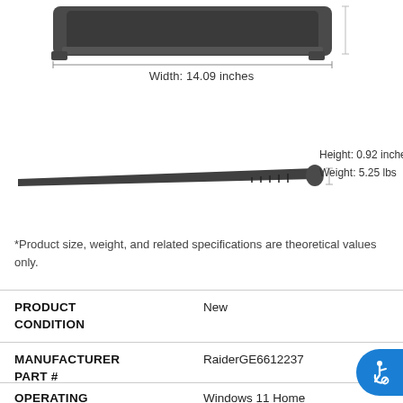[Figure (photo): Top-down view of a gaming laptop showing width measurement bracket, dark gray chassis]
Width: 14.09 inches
[Figure (photo): Side profile view of a gaming laptop (very thin), with height and weight labeled]
Height: 0.92 inches
Weight: 5.25 lbs
*Product size, weight, and related specifications are theoretical values only.
| PRODUCT CONDITION | New |
| --- | --- |
| MANUFACTURER PART # | RaiderGE6612237 |
| --- | --- |
| OPERATING | Windows 11 Home |
| --- | --- |